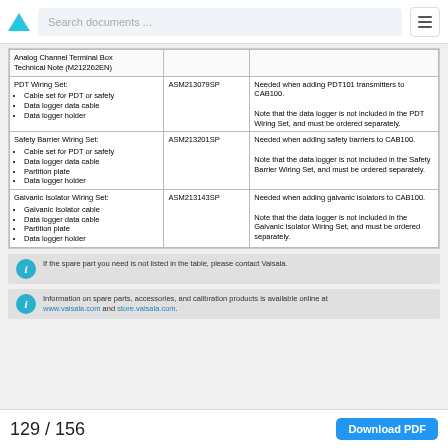Search documents ...
| Item | Order Code | Notes |
| --- | --- | --- |
| Analog Channel Terminal Box Technical Note (M212262EN) |  |  |
| PDT Wiring Set:
• Cable set for PDT or safety
• Data logger data cable
• Data logger holder | ASM213079SP | Needed when adding PDT101 transmitters to CAB100.
Note that the data logger is not included in the PDT Wiring Set, and must be ordered separately. |
| Safety Barrier Wiring Set:
• Cable set for PDT or safety
• Data logger data cable
• Partition plate
• Data logger holder | ASM213201SP | Needed when adding safety barriers to CAB100.
Note that the data logger is not included in the Safety Barrier Wiring Set, and must be ordered separately. |
| Galvanic Isolator Wiring Set:
• Galvanic Isolator cable
• Data logger data cable
• Partition plate
• Data logger holder | ASM213143SP | Needed when adding galvanic isolators to CAB100.
Note that the data logger is not included in the Galvanic Isolator Wiring Set, and must be ordered separately. |
If the spare part you need is not listed in the table, please contact Vaisala.
Information on spare parts, accessories, and calibration products is available online at www.vaisala.com and store.vaisala.com.
129 / 156